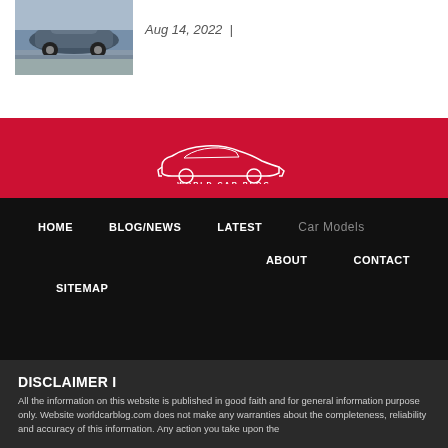[Figure (photo): Photo of a silver/grey car on a road]
Aug 14, 2022 |
[Figure (logo): World Car Blog logo - white car silhouette outline with text WORLD CAR BLOG on red background]
HOME   BLOG/NEWS   LATEST   Car Models   ABOUT   CONTACT   SITEMAP
DISCLAIMER I
All the information on this website is published in good faith and for general information purpose only. Website worldcarblog.com does not make any warranties about the completeness, reliability and accuracy of this information. Any action you take upon the